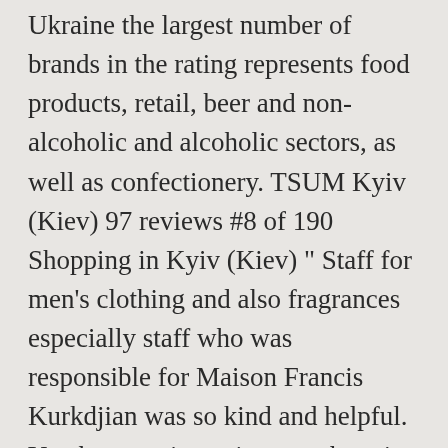Ukraine the largest number of brands in the rating represents food products, retail, beer and non-alcoholic and alcoholic sectors, as well as confectionery. TSUM Kyiv (Kiev) 97 reviews #8 of 190 Shopping in Kyiv (Kiev) " Staff for men's clothing and also fragrances especially staff who was responsible for Maison Francis Kurkdjian was so kind and helpful. You have no items in your shopping cart. The value of the top 100 most expensive brands of Ukraine totals $5.4 billion, according to a study conducted by the Novoye Vremia publication jointly with MMP Consulting. To find out more see our Privacy Policy. Learn more about Ukraine in this article. Nowadays almost 20% of company's production go for export to more